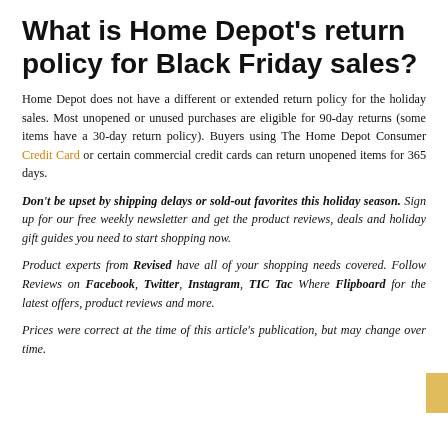What is Home Depot's return policy for Black Friday sales?
Home Depot does not have a different or extended return policy for the holiday sales. Most unopened or unused purchases are eligible for 90-day returns (some items have a 30-day return policy). Buyers using The Home Depot Consumer Credit Card or certain commercial credit cards can return unopened items for 365 days.
Don't be upset by shipping delays or sold-out favorites this holiday season. Sign up for our free weekly newsletter and get the product reviews, deals and holiday gift guides you need to start shopping now.
Product experts from Revised have all of your shopping needs covered. Follow Reviews on Facebook, Twitter, Instagram, TIC Tac Where Flipboard for the latest offers, product reviews and more.
Prices were correct at the time of this article's publication, but may change over time.